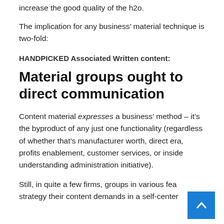increase the good quality of the h2o.
The implication for any business’ material technique is two-fold:
HANDPICKED Associated Written content:
Material groups ought to direct communication
Content material expresses a business’ method – it’s the byproduct of any just one functionality (regardless of whether that’s manufacturer worth, direct era, profits enablement, customer services, or inside understanding administration initiative).
Still, in quite a few firms, groups in various fea strategy their content demands in a self-center